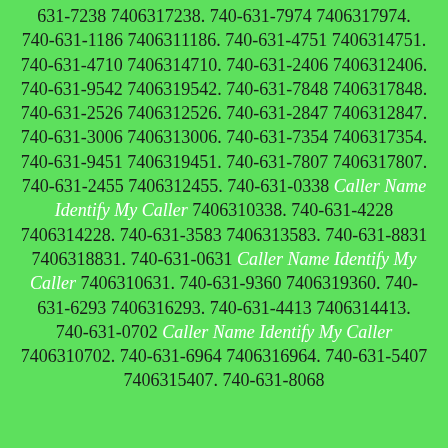631-7238 7406317238. 740-631-7974 7406317974. 740-631-1186 7406311186. 740-631-4751 7406314751. 740-631-4710 7406314710. 740-631-2406 7406312406. 740-631-9542 7406319542. 740-631-7848 7406317848. 740-631-2526 7406312526. 740-631-2847 7406312847. 740-631-3006 7406313006. 740-631-7354 7406317354. 740-631-9451 7406319451. 740-631-7807 7406317807. 740-631-2455 7406312455. 740-631-0338 Caller Name Identify My Caller 7406310338. 740-631-4228 7406314228. 740-631-3583 7406313583. 740-631-8831 7406318831. 740-631-0631 Caller Name Identify My Caller 7406310631. 740-631-9360 7406319360. 740-631-6293 7406316293. 740-631-4413 7406314413. 740-631-0702 Caller Name Identify My Caller 7406310702. 740-631-6964 7406316964. 740-631-5407 7406315407. 740-631-8068